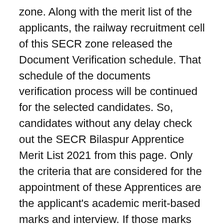zone. Along with the merit list of the applicants, the railway recruitment cell of this SECR zone released the Document Verification schedule. That schedule of the documents verification process will be continued for the selected candidates. So, candidates without any delay check out the SECR Bilaspur Apprentice Merit List 2021 from this page. Only the criteria that are considered for the appointment of these Apprentices are the applicant's academic merit-based marks and interview. If those marks are good enough when compared to others then they will be on the SECR Apprentice Merit List. The SECR Railway Apprentice Result 2021 eligible individuals are almost selected for the job with just formality. That formality is the verification of the educational documents and other essential certificates. So,